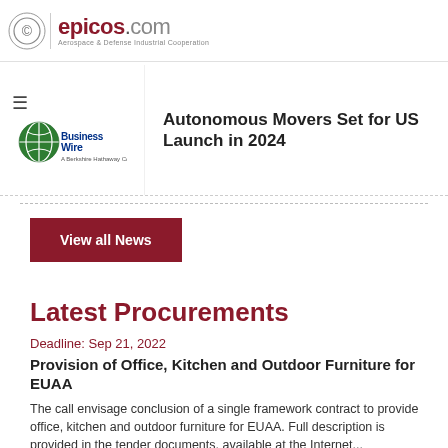epicos.com — Aerospace & Defense Industrial Cooperation
[Figure (logo): BusinessWire logo — A Berkshire Hathaway Company]
Autonomous Movers Set for US Launch in 2024
View all News
Latest Procurements
Deadline: Sep 21, 2022
Provision of Office, Kitchen and Outdoor Furniture for EUAA
The call envisage conclusion of a single framework contract to provide office, kitchen and outdoor furniture for EUAA. Full description is provided in the tender documents, available at the Internet...